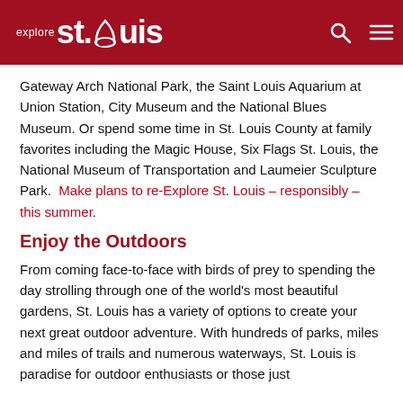explore st.louis
Gateway Arch National Park, the Saint Louis Aquarium at Union Station, City Museum and the National Blues Museum. Or spend some time in St. Louis County at family favorites including the Magic House, Six Flags St. Louis, the National Museum of Transportation and Laumeier Sculpture Park. Make plans to re-Explore St. Louis – responsibly – this summer.
Enjoy the Outdoors
From coming face-to-face with birds of prey to spending the day strolling through one of the world's most beautiful gardens, St. Louis has a variety of options to create your next great outdoor adventure. With hundreds of parks, miles and miles of trails and numerous waterways, St. Louis is paradise for outdoor enthusiasts or those just